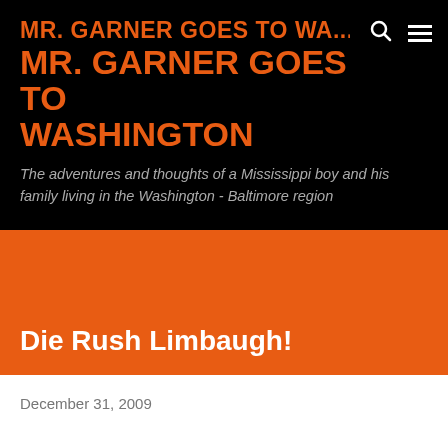MR. GARNER GOES TO WA...
MR. GARNER GOES TO WASHINGTON
The adventures and thoughts of a Mississippi boy and his family living in the Washington - Baltimore region
Die Rush Limbaugh!
December 31, 2009
[Figure (screenshot): Partial view of an embedded video player thumbnail at the bottom of the page]